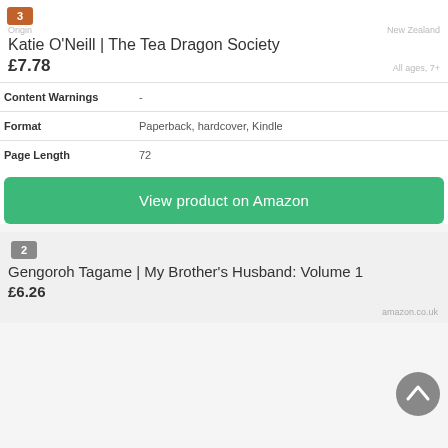3
Origin   New Zealand
Katie O'Neill | The Tea Dragon Society
£7.78
|  |  |
| --- | --- |
| Content Warnings | - |
| Format | Paperback, hardcover, Kindle |
| Page Length | 72 |
View product on Amazon
2
Gengoroh Tagame | My Brother's Husband: Volume 1
£6.26
amazon.co.uk